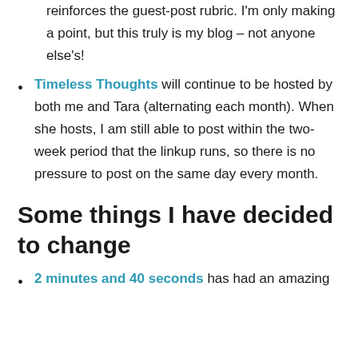reinforces the guest-post rubric. I'm only making a point, but this truly is my blog – not anyone else's!
Timeless Thoughts will continue to be hosted by both me and Tara (alternating each month). When she hosts, I am still able to post within the two-week period that the linkup runs, so there is no pressure to post on the same day every month.
Some things I have decided to change
2 minutes and 40 seconds has had an amazing